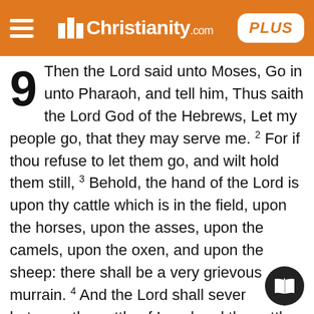Christianity.com PLUS
Then the Lord said unto Moses, Go in unto Pharaoh, and tell him, Thus saith the Lord God of the Hebrews, Let my people go, that they may serve me. 2 For if thou refuse to let them go, and wilt hold them still, 3 Behold, the hand of the Lord is upon thy cattle which is in the field, upon the horses, upon the asses, upon the camels, upon the oxen, and upon the sheep: there shall be a very grievous murrain. 4 And the Lord shall sever between the cattle of Israel and the cattle of Egypt: and there shall nothing die of all that is the children's of Israel. 5 And the appointed a set time, saying, To morrow the